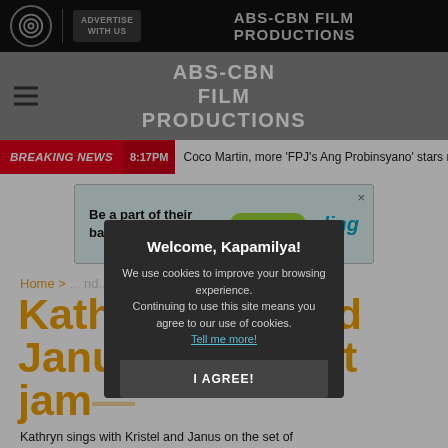ABS-CBN FILM PRODUCTIONS
ADVERTISE WITH US
BREAKING NEWS  8:17PM  Coco Martin, more 'FPJ's Ang Probinsyano' stars ma...
[Figure (infographic): Advertisement banner: 'Be a part of their back-to-school story. Send load. ding']
Home > ... nd...
Kathryn... and Janu... but jam...
Kathryn sings with Kristel and Janus on the set of "Cant Help Falling in Love"
Welcome, Kapamilya!

We use cookies to improve your browsing experience.
Continuing to use this site means you agree to our use of cookies.

Tell me more!

I AGREE!